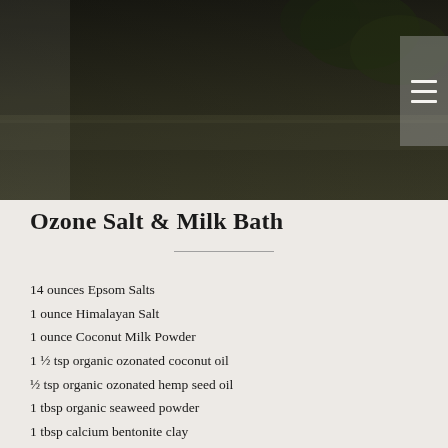[Figure (photo): Dark nature/outdoor background photo with blurred foliage and a horizontal surface, shown in dark tones]
Ozone Salt & Milk Bath
14 ounces Epsom Salts
1 ounce Himalayan Salt
1 ounce Coconut Milk Powder
1 ½ tsp organic ozonated coconut oil
½ tsp organic ozonated hemp seed oil
1 tbsp organic seaweed powder
1 tbsp calcium bentonite clay
In a glass or wooden bowl (not metal, as it deactivates the bentonite clay) combine the salts, powders and oils...blend well. Add essential oils if desired then jar in glass.